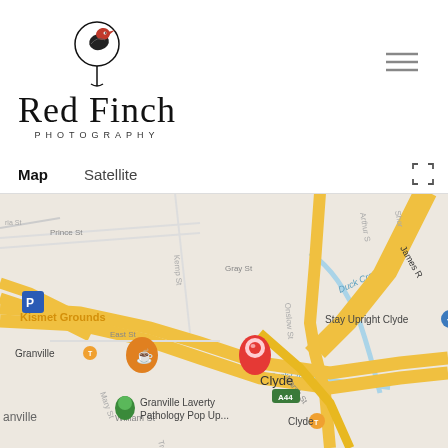[Figure (logo): Red Finch Photography logo with bird illustration and stylized script text]
[Figure (screenshot): Google Maps screenshot showing Clyde, NSW Australia area with street map view. Shows locations including Granville, Kismet Grounds, Stay Upright Clyde, Doug Smith Appliance Spares, Granville Laverty Pathology Pop Up, Amart Furniture, Hungry Jack's Burgers Auburn, Duck Creek, James Ruse Drive, and a red location pin for Clyde with A44 marker.]